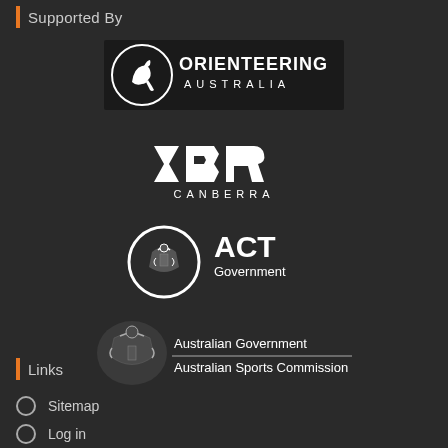Supported By
[Figure (logo): Orienteering Australia logo — black and white logo with kangaroo silhouette and bold text 'ORIENTEERING AUSTRALIA']
[Figure (logo): CBR Canberra logo — geometric white diamond shapes spelling 'CBR' above text 'CANBERRA']
[Figure (logo): ACT Government logo — circular coat of arms with 'ACT Government' text in bold]
[Figure (logo): Australian Government Australian Sports Commission logo — coat of arms with text 'Australian Government / Australian Sports Commission']
Links
Sitemap
Log in